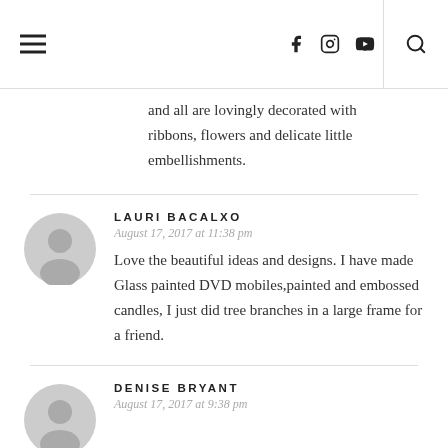Navigation header with hamburger menu, social icons (Facebook, Instagram, YouTube), and search icon
and all are lovingly decorated with ribbons, flowers and delicate little embellishments.
LAURI BACALXO
August 17, 2017 at 11:38 pm
Love the beautiful ideas and designs. I have made Glass painted DVD mobiles,painted and embossed candles, I just did tree branches in a large frame for a friend.
DENISE BRYANT
August 17, 2017 at 9:38 pm